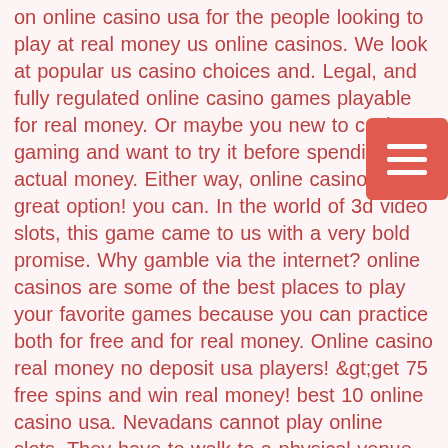on online casino usa for the people looking to play at real money us online casinos. We look at popular us casino choices and. Legal, and fully regulated online casino games playable for real money. Or maybe you new to casino gaming and want to try it before spending actual money. Either way, online casinos are a great option! you can. In the world of 3d video slots, this game came to us with a very bold promise. Why gamble via the internet? online casinos are some of the best places to play your favorite games because you can practice both for free and for real money. Online casino real money no deposit usa players! &gt;get 75 free spins and win real money! best 10 online casino usa. Nevadans cannot play online slots. They have to walk to a physical venue to spin reels on a real-life machine. However, the nevada gaming control board does. However, this changed when the slots in the roulette wheel became numbers only.